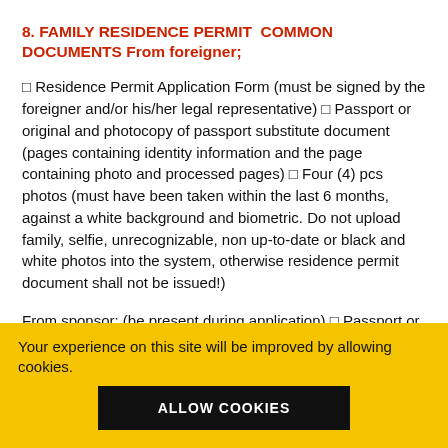8. FAMILY RESIDENCE PERMIT COMMON DOCUMENTS From foreigner;
□ Residence Permit Application Form (must be signed by the foreigner and/or his/her legal representative) □ Passport or original and photocopy of passport substitute document (pages containing identity information and the page containing photo and processed pages) □ Four (4) pcs photos (must have been taken within the last 6 months, against a white background and biometric. Do not upload family, selfie, unrecognizable, non up-to-date or black and white photos into the system, otherwise residence permit document shall not be issued!)
From sponsor; (be present during application) □ Passport or original and photocopy of passport substitute document...
Your experience on this site will be improved by allowing cookies.